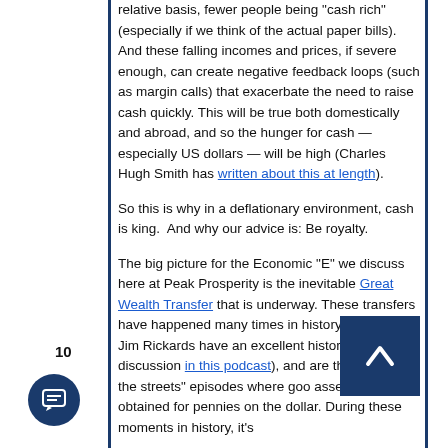relative basis, fewer people being "cash rich" (especially if we think of the actual paper bills). And these falling incomes and prices, if severe enough, can create negative feedback loops (such as margin calls) that exacerbate the need to raise cash quickly. This will be true both domestically and abroad, and so the hunger for cash — especially US dollars — will be high (Charles Hugh Smith has written about this at length).
So this is why in a deflationary environment, cash is king.  And why our advice is: Be royalty.
The big picture for the Economic "E" we discuss here at Peak Prosperity is the inevitable Great Wealth Transfer that is underway. These transfers have happened many times in history (Chris and Jim Rickards have an excellent historical discussion in this podcast), and are the "blood in the streets" episodes where good assets can be obtained for pennies on the dollar. During these moments in history, it's
10